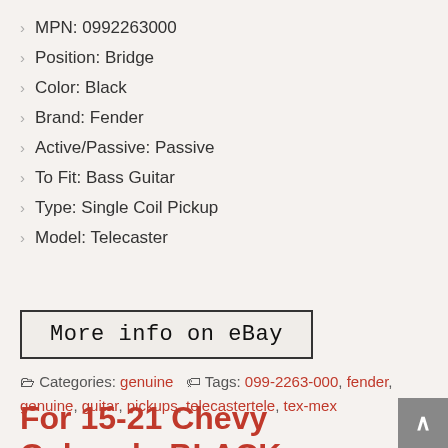MPN: 0992263000
Position: Bridge
Color: Black
Brand: Fender
Active/Passive: Passive
To Fit: Bass Guitar
Type: Single Coil Pickup
Model: Telecaster
More info on eBay
Categories: genuine   Tags: 099-2263-000, fender, genuine, guitar, pickups, telecastertele, tex-mex
For 15-21 Chevy Colorado BLACK SMOKE OLED Light Bar LED Back